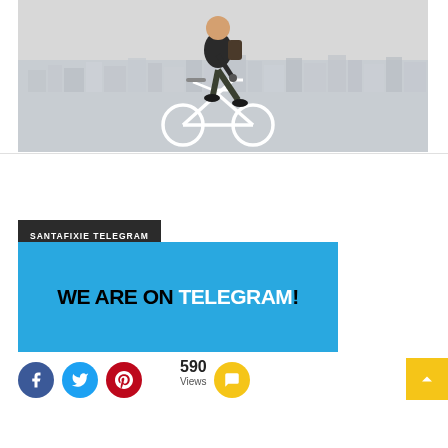[Figure (photo): Person riding a white bicycle against a city hillside backdrop, wearing dark clothing and a backpack]
SANTAFIXIE TELEGRAM
[Figure (infographic): Blue banner with bold text reading 'WE ARE ON TELEGRAM!' with TELEGRAM in white and the rest in black]
590 Views
[Figure (infographic): Social sharing buttons: Facebook (blue circle), Twitter (cyan circle), Pinterest (red circle), messenger/chat (yellow circle), and a scroll-to-top yellow button]